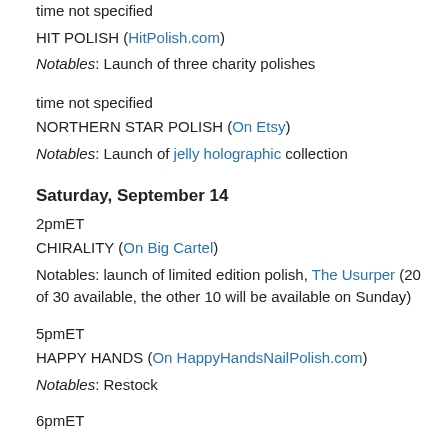time not specified
HIT POLISH (HitPolish.com)
Notables: Launch of three charity polishes
time not specified
NORTHERN STAR POLISH (On Etsy)
Notables: Launch of jelly holographic collection
Saturday, September 14
2pmET
CHIRALITY (On Big Cartel)
Notables: launch of limited edition polish, The Usurper (20 of 30 available, the other 10 will be available on Sunday)
5pmET
HAPPY HANDS (On HappyHandsNailPolish.com)
Notables: Restock
6pmET